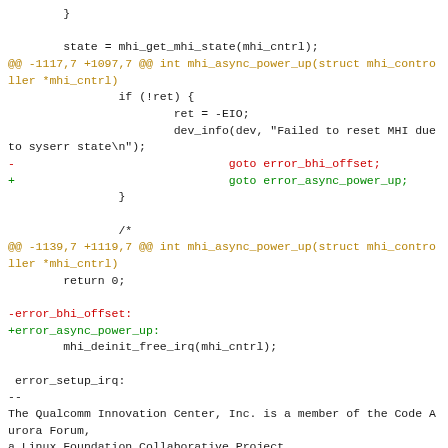Code diff showing changes to mhi_async_power_up function, including goto label rename from error_bhi_offset to error_async_power_up, and footer showing Qualcomm Innovation Center attribution.